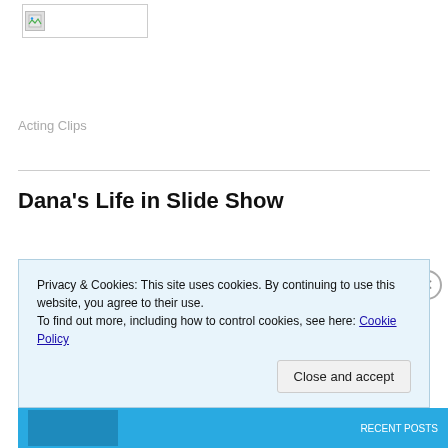[Figure (logo): Broken/loading image placeholder in top-left corner, rectangular with border]
Acting Clips
Dana's Life in Slide Show
Privacy & Cookies: This site uses cookies. By continuing to use this website, you agree to their use.
To find out more, including how to control cookies, see here: Cookie Policy
Close and accept